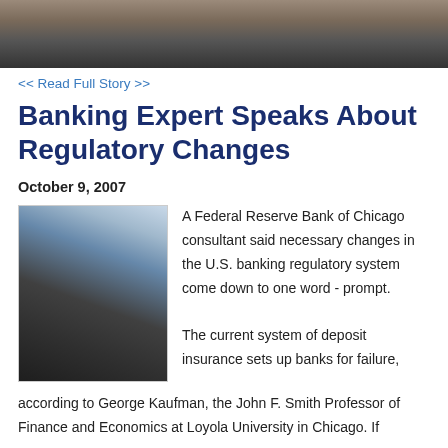[Figure (photo): Top portion of a photo showing people in a classroom or lecture setting, cropped at top]
<< Read Full Story >>
Banking Expert Speaks About Regulatory Changes
October 9, 2007
[Figure (photo): Photo of a bald man with glasses wearing a dark suit and pink tie, gesturing while speaking at a lecture]
A Federal Reserve Bank of Chicago consultant said necessary changes in the U.S. banking regulatory system come down to one word - prompt.

The current system of deposit insurance sets up banks for failure, according to George Kaufman, the John F. Smith Professor of Finance and Economics at Loyola University in Chicago. If